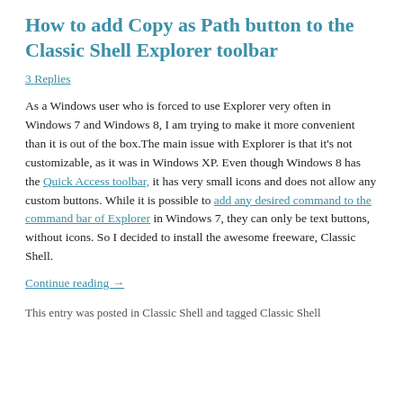How to add Copy as Path button to the Classic Shell Explorer toolbar
3 Replies
As a Windows user who is forced to use Explorer very often in Windows 7 and Windows 8, I am trying to make it more convenient than it is out of the box.The main issue with Explorer is that it's not customizable, as it was in Windows XP. Even though Windows 8 has the Quick Access toolbar, it has very small icons and does not allow any custom buttons. While it is possible to add any desired command to the command bar of Explorer in Windows 7, they can only be text buttons, without icons. So I decided to install the awesome freeware, Classic Shell.
Continue reading →
This entry was posted in Classic Shell and tagged Classic Shell